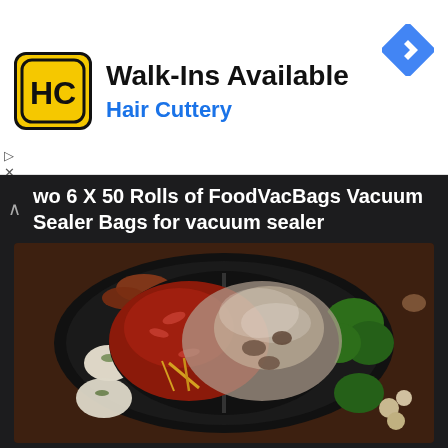[Figure (logo): Hair Cuttery logo — yellow square with HC letters and black border, rounded corners]
Walk-Ins Available
Hair Cuttery
[Figure (illustration): Blue diamond navigation/direction arrow icon]
▷
×
Two 6 X 50 Rolls of FoodVacBags Vacuum Sealer Bags for vacuum sealer
[Figure (photo): Overhead photo of a hot pot with grill — a large round black pot divided into two sections, one with red spicy broth containing herbs and chili peppers, the other with a lighter mushroom broth, surrounded by grilled shrimp, scallops, broccoli, and white dumplings on a wooden surface]
Hot Pot with Grill, 2000W 2 in 1 Electric Hot Pot Grill Cooker with
[Figure (photo): Partial view of another product image at bottom of screen]